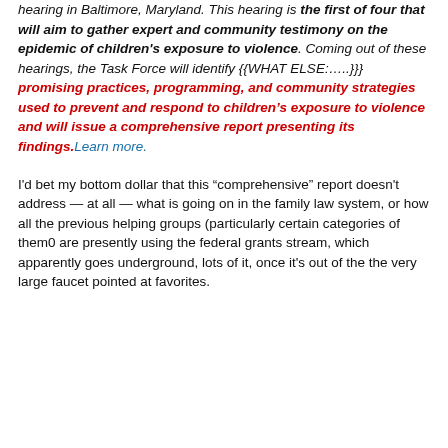hearing in Baltimore, Maryland. This hearing is the first of four that will aim to gather expert and community testimony on the epidemic of children's exposure to violence. Coming out of these hearings, the Task Force will identify {{WHAT ELSE:.....}}} promising practices, programming, and community strategies used to prevent and respond to children's exposure to violence and will issue a comprehensive report presenting its findings.Learn more.
I'd bet my bottom dollar that this “comprehensive” report doesn't address — at all — what is going on in the family law system, or how all the previous helping groups (particularly certain categories of them0 are presently using the federal grants stream, which apparently goes underground, lots of it, once it's out of the the very large faucet pointed at favorites.